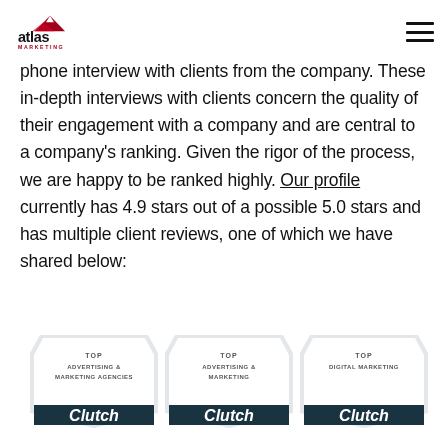atlas MARKETING
phone interview with clients from the company. These in-depth interviews with clients concern the quality of their engagement with a company and are central to a company's ranking. Given the rigor of the process, we are happy to be ranked highly. Our profile currently has 4.9 stars out of a possible 5.0 stars and has multiple client reviews, one of which we have shared below:
[Figure (logo): Three Clutch award badges at the bottom: Top Advertising & Marketing Agencies, Top Advertising & Marketing, Top Digital Marketing]